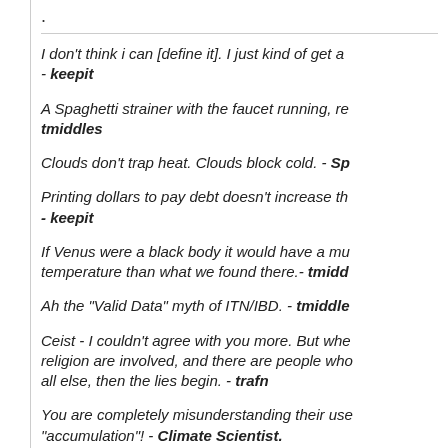.
I don't think i can [define it]. I just kind of get a - keepit
A Spaghetti strainer with the faucet running, re tmiddles
Clouds don't trap heat. Clouds block cold. - Sp
Printing dollars to pay debt doesn't increase th - keepit
If Venus were a black body it would have a mu temperature than what we found there.- tmiddles
Ah the "Valid Data" myth of ITN/IBD. - tmiddles
Ceist - I couldn't agree with you more. But whe religion are involved, and there are people who all else, then the lies begin. - trafn
You are completely misunderstanding their use "accumulation"! - Climate Scientist.